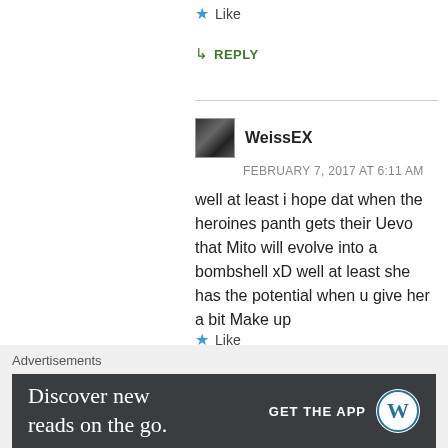★ Like
↳ REPLY
WeissEX
FEBRUARY 7, 2017 AT 6:11 AM
well at least i hope dat when the heroines panth gets their Uevo that Mito will evolve into a bombshell xD well at least she has the potential when u give her a bit Make up
★ Like
↳ REPLY
Advertisements
Discover new reads on the go.
GET THE APP